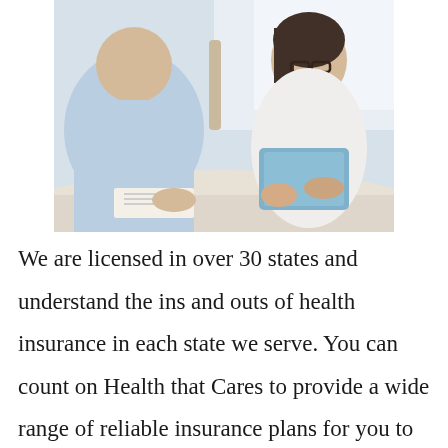[Figure (photo): A business meeting scene showing two people at a table — a man in a light blue shirt viewed from behind, and a woman with glasses wearing a white blouse, holding a blue folder/tablet, appearing to be an insurance advisor meeting with a client.]
We are licensed in over 30 states and understand the ins and outs of health insurance in each state we serve. You can count on Health that Cares to provide a wide range of reliable insurance plans for you to choose from. Our clients appreciate the personal attention and cost savings they get by trusting our advisors. Here is what they are saying